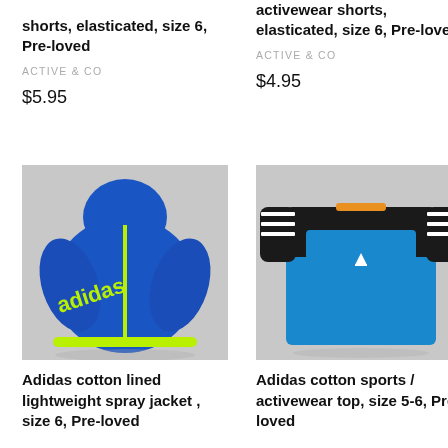shorts, elasticated, size 6, Pre-loved
ACTIVE & CO
$5.95
activewear shorts, elasticated, size 6, Pre-loved
ACTIVE & CO
$4.95
[Figure (photo): Blue and neon yellow Adidas cotton lined lightweight spray jacket, size 6]
Adidas cotton lined lightweight spray jacket , size 6, Pre-loved
[Figure (photo): Blue and black Adidas cotton sports / activewear top, size 5-6]
Adidas cotton sports / activewear top, size 5-6, Pre-loved